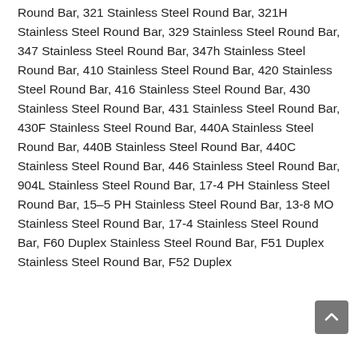Round Bar, 321 Stainless Steel Round Bar, 321H Stainless Steel Round Bar, 329 Stainless Steel Round Bar, 347 Stainless Steel Round Bar, 347h Stainless Steel Round Bar, 410 Stainless Steel Round Bar, 420 Stainless Steel Round Bar, 416 Stainless Steel Round Bar, 430 Stainless Steel Round Bar, 431 Stainless Steel Round Bar, 430F Stainless Steel Round Bar, 440A Stainless Steel Round Bar, 440B Stainless Steel Round Bar, 440C Stainless Steel Round Bar, 446 Stainless Steel Round Bar, 904L Stainless Steel Round Bar, 17-4 PH Stainless Steel Round Bar, 15–5 PH Stainless Steel Round Bar, 13-8 MO Stainless Steel Round Bar, 17-4 Stainless Steel Round Bar, F60 Duplex Stainless Steel Round Bar, F51 Duplex Stainless Steel Round Bar, F52 Duplex Stainless Steel Round Bar,